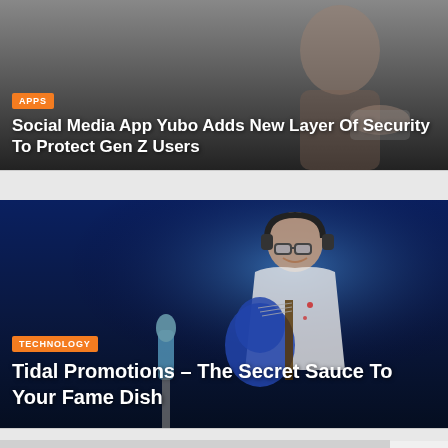[Figure (photo): Dark-toned photo of a person holding a phone, partially visible at top. Category badge 'APPS' in orange. Title overlay: 'Social Media App Yubo Adds New Layer Of Security To Protect Gen Z Users']
Social Media App Yubo Adds New Layer Of Security To Protect Gen Z Users
[Figure (photo): Photo of a man with glasses and headphones playing guitar in front of a blue-lit background with a microphone. Category badge 'TECHNOLOGY'. Title: 'Tidal Promotions – The Secret Sauce To Your Fame Dish']
Tidal Promotions – The Secret Sauce To Your Fame Dish
[Figure (photo): Partially visible photo showing what appears to be office/tech equipment, stacked papers, and teal background. Bottom of page.]